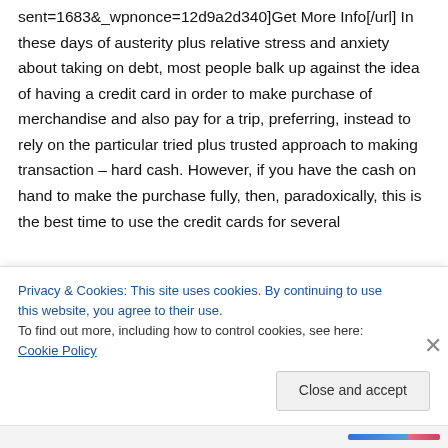sent=1683&_wpnonce=12d9a2d340]Get More Info[/url] In these days of austerity plus relative stress and anxiety about taking on debt, most people balk up against the idea of having a credit card in order to make purchase of merchandise and also pay for a trip, preferring, instead to rely on the particular tried plus trusted approach to making transaction – hard cash. However, if you have the cash on hand to make the purchase fully, then, paradoxically, this is the best time to use the credit cards for several
Privacy & Cookies: This site uses cookies. By continuing to use this website, you agree to their use.
To find out more, including how to control cookies, see here: Cookie Policy
Close and accept